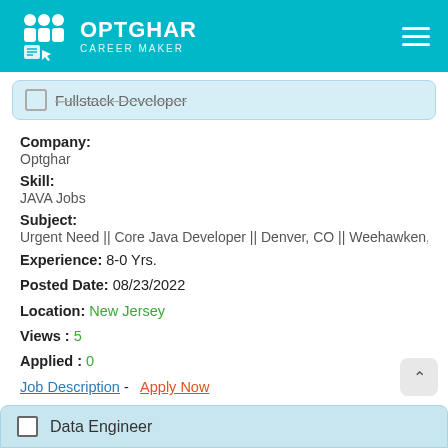OPTGHAR CAREER MAKER
Fullstack Developer
Company: Optghar
Skill: JAVA Jobs
Subject: Urgent Need || Core Java Developer || Denver, CO || Weehawken, NJ (D
Experience: 8-0 Yrs.
Posted Date: 08/23/2022
Location: New Jersey
Views : 5
Applied : 0
Job Description - Apply Now
Data Engineer